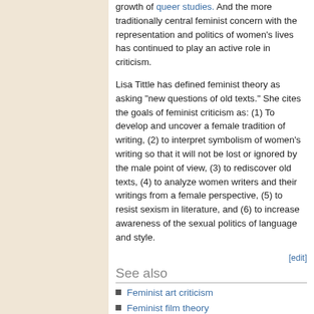growth of queer studies. And the more traditionally central feminist concern with the representation and politics of women's lives has continued to play an active role in criticism.
Lisa Tittle has defined feminist theory as asking "new questions of old texts." She cites the goals of feminist criticism as: (1) To develop and uncover a female tradition of writing, (2) to interpret symbolism of women's writing so that it will not be lost or ignored by the male point of view, (3) to rediscover old texts, (4) to analyze women writers and their writings from a female perspective, (5) to resist sexism in literature, and (6) to increase awareness of the sexual politics of language and style.
[edit]
See also
Feminist art criticism
Feminist film theory
Feminist criticism
Feminist theory
Literary criticism